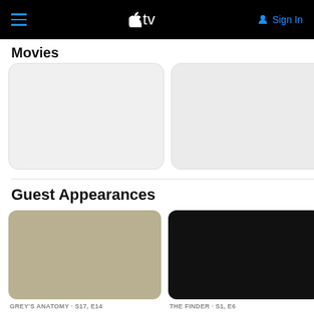Apple TV – Movies / Guest Appearances
Movies
[Figure (illustration): Two rounded-rectangle movie poster placeholder cards, light gray background]
Guest Appearances
[Figure (photo): Tan/beige colored episode thumbnail card for Grey's Anatomy S17 E14]
GREY'S ANATOMY · S17, E14
Look Up Child
Jackson pays a visit to his father, who helps set him on the right path.
[Figure (photo): Black colored episode thumbnail card for The Finder S1 E6]
THE FINDER · S1, E6
Little Green Men
Dr. Jack Hodgins ("Bones") asks Walter to help find evidence of